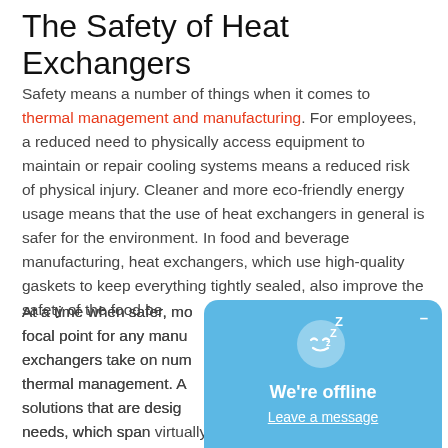The Safety of Heat Exchangers
Safety means a number of things when it comes to thermal management and manufacturing. For employees, a reduced need to physically access equipment to maintain or repair cooling systems means a reduced risk of physical injury. Cleaner and more eco-friendly energy usage means that the use of heat exchangers in general is safer for the environment. In food and beverage manufacturing, heat exchangers, which use high-quality gaskets to keep everything tightly sealed, also improve the safety of the food be[ing processed].
At a time when safer, mo[re sustainable practices are a focal point for any manu]facturing business, heat exchangers take on num[erous roles in efficient] thermal management. A[s] s[o]lutions that are desig[ned to meet a wide range of] needs, which span virtually every industry that relies on
[Figure (screenshot): Chat widget popup showing a sleeping face emoji with 'Z' letters, 'We're offline' text, and 'Leave a message' link on a blue background]